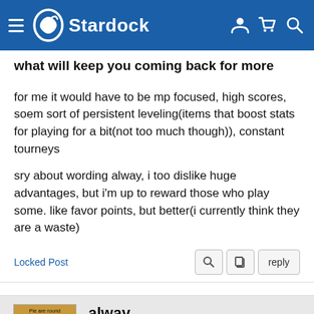Stardock
what will keep you coming back for more
for me it would have to be mp focused, high scores, soem sort of persistent leveling(items that boost stats for playing for a bit(not too much though)), constant tourneys
sry about wording alway, i too dislike huge advantages, but i'm up to reward those who play some. like favor points, but better(i currently think they are a waste)
Locked Post
alway